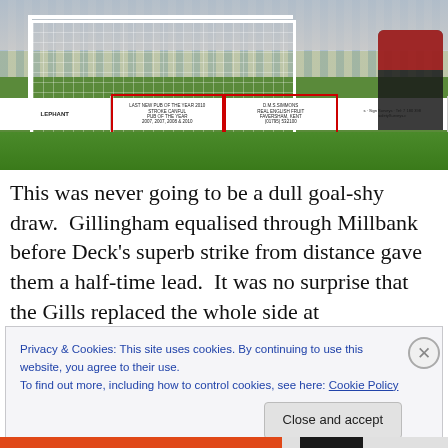[Figure (photo): Football match photo showing a goal net, advertising hoardings with text including 'D.M.S. Simmons Real English Fruit', players, crowd in background, and green pitch]
This was never going to be a dull goal-shy draw.  Gillingham equalised through Millbank before Deck's superb strike from distance gave them a half-time lead.  It was no surprise that the Gills replaced the whole side at
Privacy & Cookies: This site uses cookies. By continuing to use this website, you agree to their use.
To find out more, including how to control cookies, see here: Cookie Policy
Close and accept